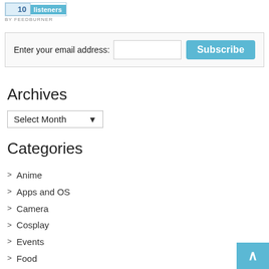[Figure (other): FeedBurner widget showing 10 listeners]
Enter your email address: [input field] Subscribe
Archives
Select Month (dropdown)
Categories
> Anime
> Apps and OS
> Camera
> Cosplay
> Events
> Food
> Friends
> Games
> Gaming console
> Movies